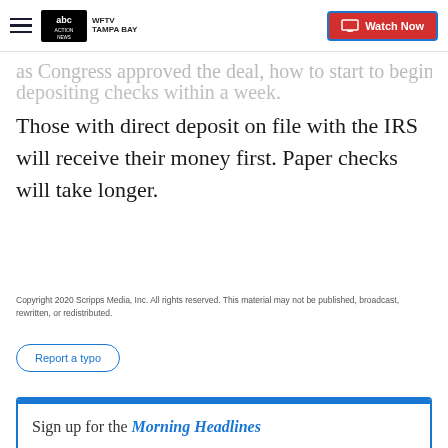WFTV Tampa Bay - Watch Now
as Congress approved the deal, how to start to begin depositing checks within a week.
Those with direct deposit on file with the IRS will receive their money first. Paper checks will take longer.
Copyright 2020 Scripps Media, Inc. All rights reserved. This material may not be published, broadcast, rewritten, or redistributed.
Report a typo
Sign up for the Morning Headlines